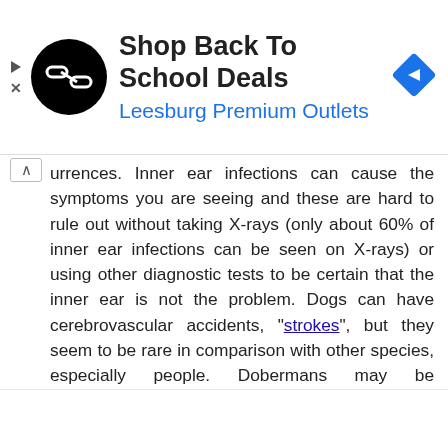[Figure (other): Advertisement banner: black circular logo with white arrow/chain icon, text 'Shop Back To School Deals' in bold and 'Leesburg Premium Outlets' in blue, blue diamond navigation icon on the right, play and close icons on the far left]
urrences. Inner ear infections can cause the symptoms you are seeing and these are hard to rule out without taking X-rays (only about 60% of inner ear infections can be seen on X-rays) or using other diagnostic tests to be certain that the inner ear is not the problem. Dogs can have cerebrovascular accidents, "strokes", but they seem to be rare in comparison with other species, especially people. Dobermans may be predisposed to this problem. Granulometous meningioencephalitis (GME) can have similar signs to the ones you described. It is a serious problem and the prognosis for long term survival with GME is poor, too. Peripheral (idopathic, geriatric) vestibular syndrome will normally clear up with or without treatment, although a few dogs have lingering residual effects such as a persistent head tilt and recurrences can happen. Inner ear infections are treatable in most cases. Most dogs have at least a good partial recovery from cerebrovascular accidents. I